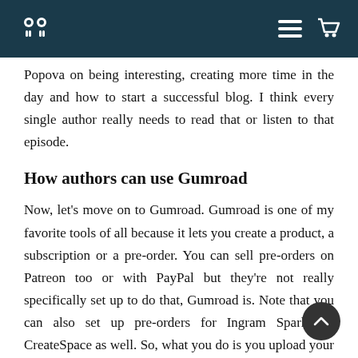[Logo] [Hamburger menu] [Cart]
Popova on being interesting, creating more time in the day and how to start a successful blog. I think every single author really needs to read that or listen to that episode.
How authors can use Gumroad
Now, let's move on to Gumroad. Gumroad is one of my favorite tools of all because it lets you create a product, a subscription or a pre-order. You can sell pre-orders on Patreon too or with PayPal but they're not really specifically set up to do that, Gumroad is. Note that you can also set up pre-orders for Ingram Spark for CreateSpace as well. So, what you do is you upload your digital products and you assign a price to it and you simply put it out on social media. A link is created, you put it on social media, you can embed it on your website, you can blog about it, put it in your newspaper. But they also let